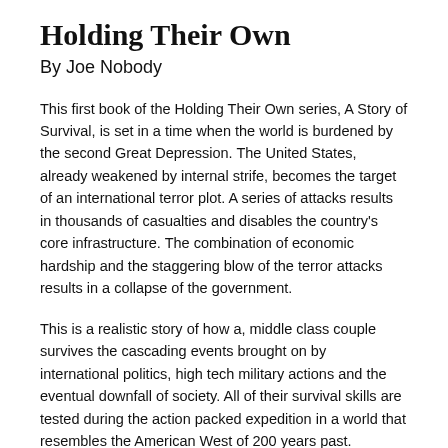Holding Their Own
By Joe Nobody
This first book of the Holding Their Own series, A Story of Survival, is set in a time when the world is burdened by the second Great Depression. The United States, already weakened by internal strife, becomes the target of an international terror plot. A series of attacks results in thousands of casualties and disables the country's core infrastructure. The combination of economic hardship and the staggering blow of the terror attacks results in a collapse of the government.
This is a realistic story of how a, middle class couple survives the cascading events brought on by international politics, high tech military actions and the eventual downfall of society. All of their survival skills are tested during the action packed expedition in a world that resembles the American West of 200 years past.